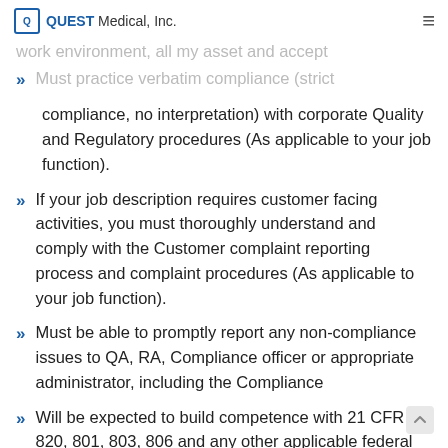QUEST Medical, Inc.
Must practice verbatim compliance (strict compliance, no interpretation) with corporate Quality and Regulatory procedures (As applicable to your job function).
If your job description requires customer facing activities, you must thoroughly understand and comply with the Customer complaint reporting process and complaint procedures (As applicable to your job function).
Must be able to promptly report any non-compliance issues to QA, RA, Compliance officer or appropriate administrator, including the Compliance
Will be expected to build competence with 21 CFR 820, 801, 803, 806 and any other applicable federal regulations, and Quality standards (As applicable to your job function).